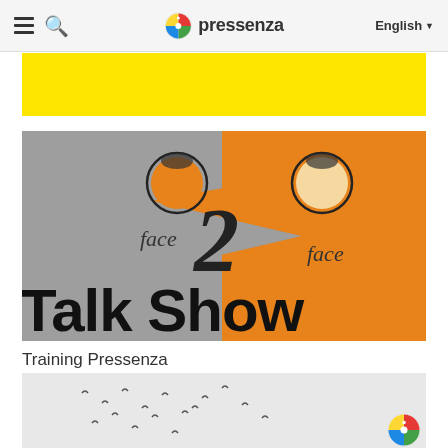pressenza  English
[Figure (illustration): Yellow banner/advertisement strip]
[Figure (logo): face2face Talk Show logo — grey and orange background with two circular face icons, large '2' in the center, text 'face' on left and right, bold 'Talk Show' at bottom]
Training Pressenza
[Figure (photo): Birds in flight against a light sky, with Pressenza logo visible at bottom right]